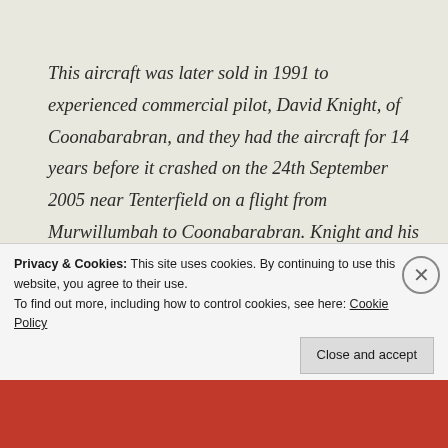This aircraft was later sold in 1991 to experienced commercial pilot, David Knight, of Coonabarabran, and they had the aircraft for 14 years before it crashed on the 24th September 2005 near Tenterfield on a flight from Murwillumbah to Coonabarabran. Knight and his wife both lost their lives. It is believed that the 71 year old pilot became incapacitated in flight.
Due to Lew's long term relationship with Hawker De
Privacy & Cookies: This site uses cookies. By continuing to use this website, you agree to their use.
To find out more, including how to control cookies, see here: Cookie Policy
Close and accept